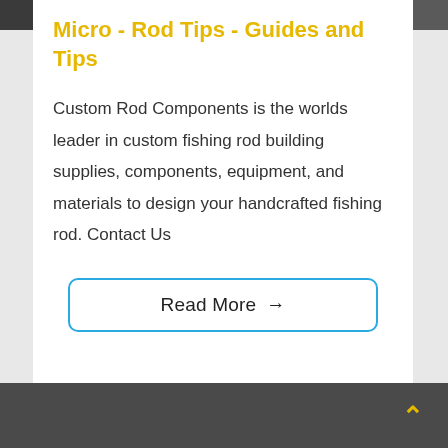Micro - Rod Tips - Guides and Tips
Custom Rod Components is the worlds leader in custom fishing rod building supplies, components, equipment, and materials to design your handcrafted fishing rod. Contact Us
Read More →
[Figure (photo): Dark background image at the bottom of the page showing what appears to be a workshop or craft surface]